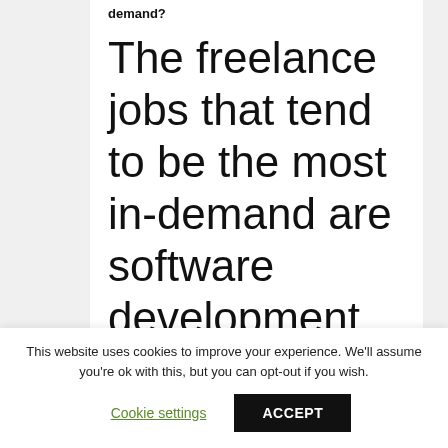demand?
The freelance jobs that tend to be the most in-demand are software development
This website uses cookies to improve your experience. We'll assume you're ok with this, but you can opt-out if you wish.
Cookie settings
ACCEPT